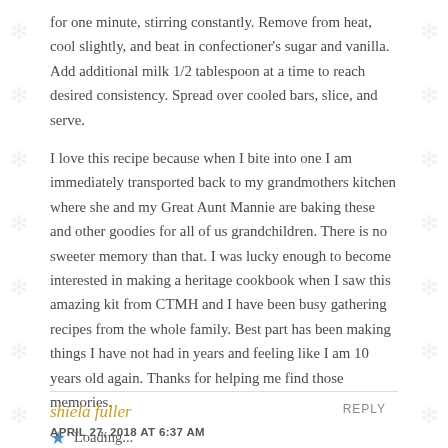for one minute, stirring constantly. Remove from heat, cool slightly, and beat in confectioner's sugar and vanilla. Add additional milk 1/2 tablespoon at a time to reach desired consistency. Spread over cooled bars, slice, and serve.
I love this recipe because when I bite into one I am immediately transported back to my grandmothers kitchen where she and my Great Aunt Mannie are baking these and other goodies for all of us grandchildren. There is no sweeter memory than that. I was lucky enough to become interested in making a heritage cookbook when I saw this amazing kit from CTMH and I have been busy gathering recipes from the whole family. Best part has been making things I have not had in years and feeling like I am 10 years old again. Thanks for helping me find those memories.
Loading...
shiela fuller
REPLY
APRIL 27, 2018 AT 6:37 AM